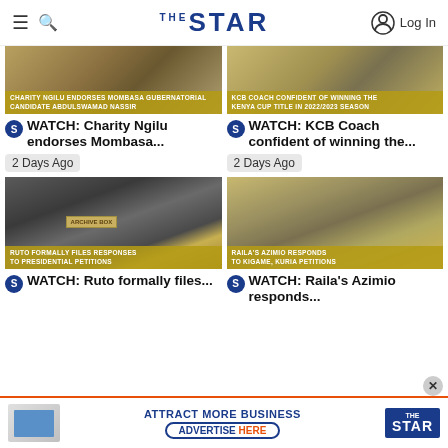The Star
[Figure (screenshot): News thumbnail: Charity Ngilu endorses Mombasa gubernatorial candidate Abdulswamad Nassir with caption overlay]
CHARITY NGILU ENDORSES MOMBASA GUBERNATORIAL CANDIDATE ABDULSWAMAD NASSIR
[Figure (screenshot): News thumbnail: KCB Coach confident of winning the Kenya Cup title in 2022/2023 season with caption overlay]
KCB COACH CONFIDENT OF WINNING THE KENYA CUP TITLE IN 2022/2023 SEASON
WATCH: Charity Ngilu endorses Mombasa...
WATCH: KCB Coach confident of winning the...
2 Days Ago
2 Days Ago
[Figure (photo): Group of men standing behind an archive box outside a building. Caption: RUTO FORMALLY FILES RESPONSES TO PRESIDENTIAL PETITIONS]
RUTO FORMALLY FILES RESPONSES TO PRESIDENTIAL PETITIONS
[Figure (photo): Stacks of documents/books on a table covered with yellow cloth. Caption: RAILA'S AZIMIO RESPONDS TO KIGAME, KURIA PETITIONS]
RAILA'S AZIMIO RESPONDS TO KIGAME, KURIA PETITIONS
WATCH: Ruto formally files...
WATCH: Raila's Azimio responds...
ATTRACT MORE BUSINESS ADVERTISE HERE — The Star advertisement banner